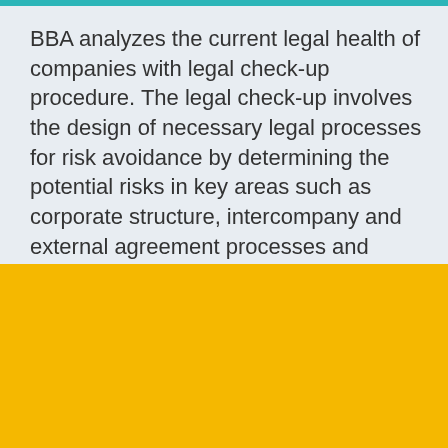BBA analyzes the current legal health of companies with legal check-up procedure. The legal check-up involves the design of necessary legal processes for risk avoidance by determining the potential risks in key areas such as corporate structure, intercompany and external agreement processes and compliance with governing regulations. The legal check-up, by raising
Çerez Kullanımı
Daha iyi bir kullanıcı deneyimi sunabilmek için çerezler (cookie) kullanılmaktadır.
❯  Kabul Et
Ayarları Değiştir  ❯